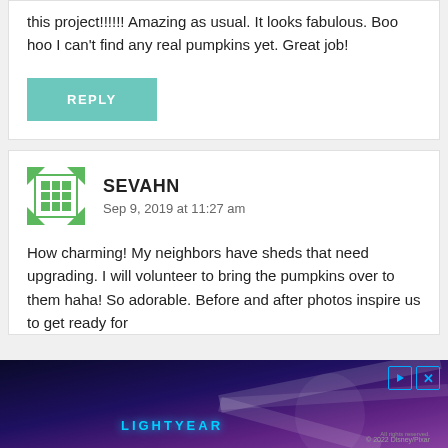this project!!!!!! Amazing as usual. It looks fabulous. Boo hoo I can't find any real pumpkins yet. Great job!
REPLY
SEVAHN
Sep 9, 2019 at 11:27 am
How charming! My neighbors have sheds that need upgrading. I will volunteer to bring the pumpkins over to them haha! So adorable. Before and after photos inspire us to get ready for
[Figure (screenshot): Advertisement banner for Lightyear Disney movie with dark space background, actor image, play and close buttons, and Disney/Pixar credit text]